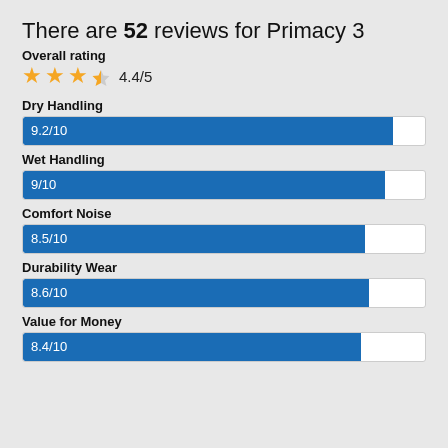There are 52 reviews for Primacy 3
Overall rating
4.4/5 (4.4 out of 5 stars)
[Figure (bar-chart): Dry Handling]
[Figure (bar-chart): Wet Handling]
[Figure (bar-chart): Comfort Noise]
[Figure (bar-chart): Durability Wear]
[Figure (bar-chart): Value for Money]